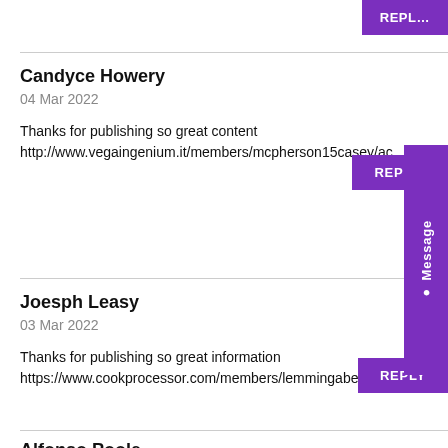REPLY
Candyce Howery
04 Mar 2022
Thanks for publishing so great content
http://www.vegaingenium.it/members/mcpherson15casey/ac
REPLY
Joesph Leasy
03 Mar 2022
Thanks for publishing so great information
https://www.cookprocessor.com/members/lemmingabel9/activity/11
REPLY
Alfonso Poole